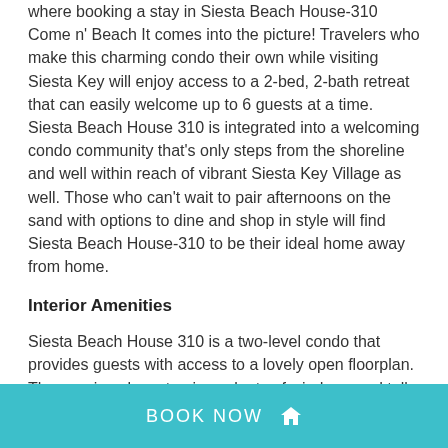where booking a stay in Siesta Beach House-310 Come n' Beach It comes into the picture! Travelers who make this charming condo their own while visiting Siesta Key will enjoy access to a 2-bed, 2-bath retreat that can easily welcome up to 6 guests at a time. Siesta Beach House 310 is integrated into a welcoming condo community that's only steps from the shoreline and well within reach of vibrant Siesta Key Village as well. Those who can't wait to pair afternoons on the sand with options to dine and shop in style will find Siesta Beach House-310 to be their ideal home away from home.
Interior Amenities
Siesta Beach House 310 is a two-level condo that provides guests with access to a lovely open floorplan. The spacious layout enjoys plenty of windows and tall ceilings throughout that work to enhance the overall sense of living space available while simultaneously treating guests to natural light flow and a great view
BOOK NOW